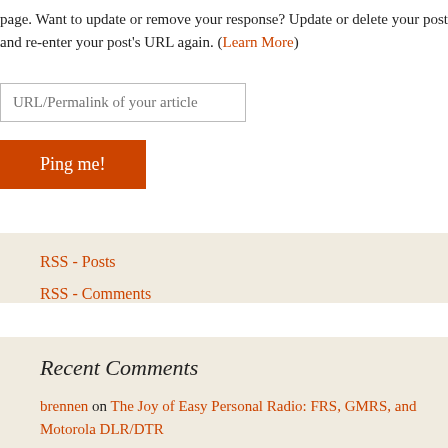page. Want to update or remove your response? Update or delete your post and re-enter your post's URL again. (Learn More)
URL/Permalink of your article
Ping me!
RSS - Posts
RSS - Comments
Recent Comments
brennen on The Joy of Easy Personal Radio: FRS, GMRS, and Motorola DLR/DTR